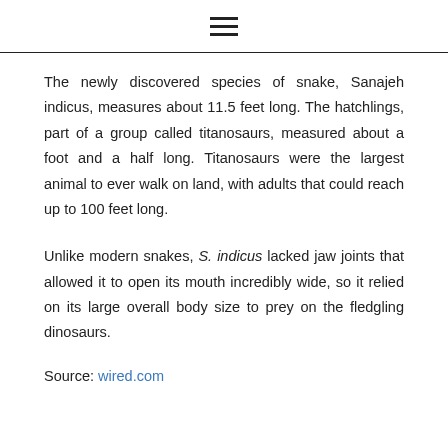≡
The newly discovered species of snake, Sanajeh indicus, measures about 11.5 feet long. The hatchlings, part of a group called titanosaurs, measured about a foot and a half long. Titanosaurs were the largest animal to ever walk on land, with adults that could reach up to 100 feet long.
Unlike modern snakes, S. indicus lacked jaw joints that allowed it to open its mouth incredibly wide, so it relied on its large overall body size to prey on the fledgling dinosaurs.
Source: wired.com